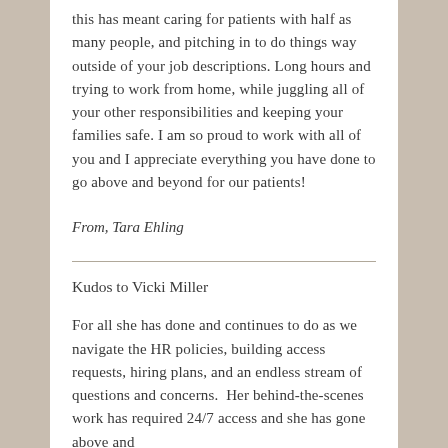this has meant caring for patients with half as many people, and pitching in to do things way outside of your job descriptions. Long hours and trying to work from home, while juggling all of your other responsibilities and keeping your families safe. I am so proud to work with all of you and I appreciate everything you have done to go above and beyond for our patients!
From, Tara Ehling
Kudos to Vicki Miller
For all she has done and continues to do as we navigate the HR policies, building access requests, hiring plans, and an endless stream of questions and concerns.  Her behind-the-scenes work has required 24/7 access and she has gone above and